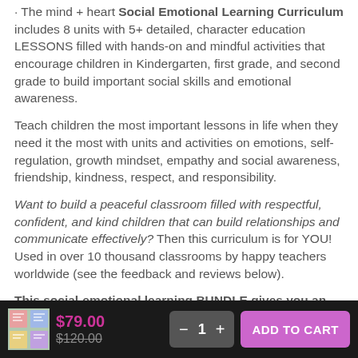The mind + heart Social Emotional Learning Curriculum includes 8 units with 5+ detailed, character education LESSONS filled with hands-on and mindful activities that encourage children in Kindergarten, first grade, and second grade to build important social skills and emotional awareness.
Teach children the most important lessons in life when they need it the most with units and activities on emotions, self-regulation, growth mindset, empathy and social awareness, friendship, kindness, respect, and responsibility.
Want to build a peaceful classroom filled with respectful, confident, and kind children that can build relationships and communicate effectively? Then this curriculum is for YOU! Used in over 10 thousand classrooms by happy teachers worldwide (see the feedback and reviews below).
This social-emotional learning BUNDLE gives you an entire YEAR'S WORTH of SEL lessons (41) and HUNDREDS
[Figure (other): Product thumbnail showing colorful educational materials]
$79.00 $120.00
— 1 + ADD TO CART